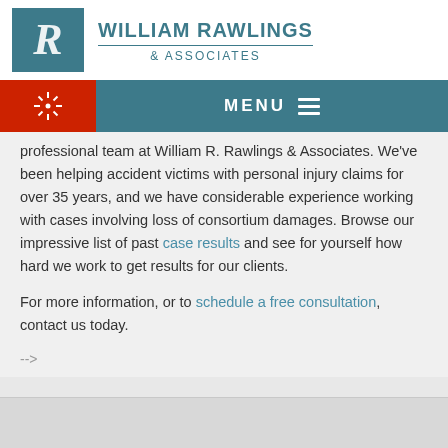[Figure (logo): William Rawlings & Associates law firm logo with teal R lettermark and firm name]
MENU
professional team at William R. Rawlings & Associates. We've been helping accident victims with personal injury claims for over 35 years, and we have considerable experience working with cases involving loss of consortium damages. Browse our impressive list of past case results and see for yourself how hard we work to get results for our clients.
For more information, or to schedule a free consultation, contact us today.
-->